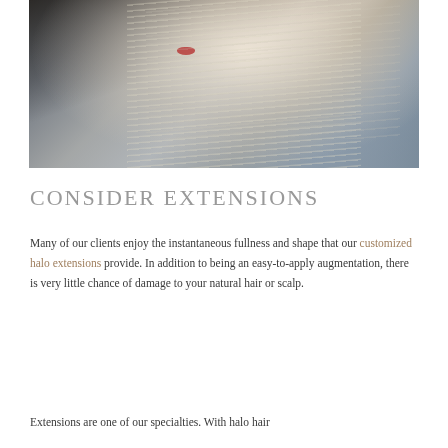[Figure (photo): Close-up photograph of a woman with blonde straight hair and red lipstick, wearing a dark top, photographed from slightly above showing her face and shoulder area against a grey background.]
CONSIDER EXTENSIONS
Many of our clients enjoy the instantaneous fullness and shape that our customized halo extensions provide. In addition to being an easy-to-apply augmentation, there is very little chance of damage to your natural hair or scalp.
Extensions are one of our specialties. With halo hair